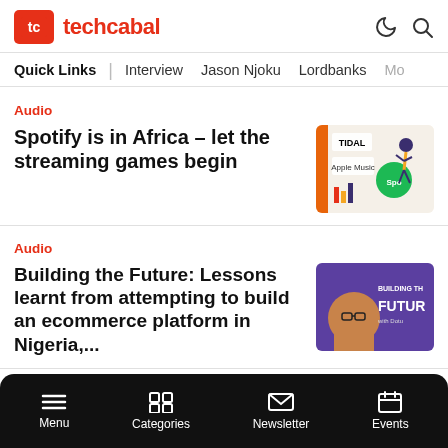techcabal
Quick Links | Interview Jason Njoku Lordbanks Mo
Audio
Spotify is in Africa – let the streaming games begin
[Figure (illustration): Thumbnail showing music streaming apps including Tidal, Apple Music, Spotify with a dancing figure illustration]
Audio
Building the Future: Lessons learnt from attempting to build an ecommerce platform in Nigeria,...
[Figure (illustration): Purple thumbnail with 'Building the Future' podcast artwork featuring a person with glasses]
Audio
Building the Future: In
[Figure (illustration): Purple thumbnail with 'Building the Future' podcast artwork]
Menu Categories Newsletter Events